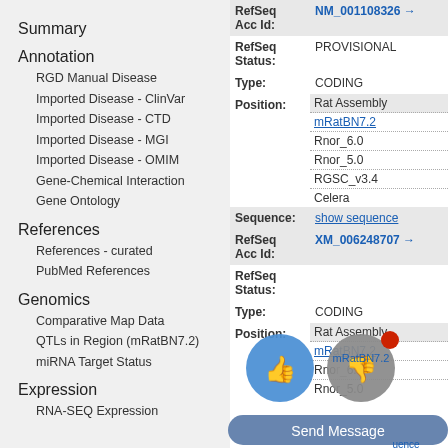Summary
Annotation
RGD Manual Disease
Imported Disease - ClinVar
Imported Disease - CTD
Imported Disease - MGI
Imported Disease - OMIM
Gene-Chemical Interaction
Gene Ontology
References
References - curated
PubMed References
Genomics
Comparative Map Data
QTLs in Region (mRatBN7.2)
miRNA Target Status
Expression
RNA-SEQ Expression
| Field | Value |
| --- | --- |
| RefSeq Acc Id: | NM_001108326 |
| RefSeq Status: | PROVISIONAL |
| Type: | CODING |
| Position: | Rat Assembly | mRatBN7.2 | Rnor_6.0 | Rnor_5.0 | RGSC_v3.4 | Celera |
| Sequence: | show sequence |
| RefSeq Acc Id: | XM_006248707 |
| RefSeq Status: |  |
| Type: | CODING |
| Position: | Rat Assembly | mRatBN7.2 | Rnor_5.0 |
[Figure (screenshot): Feedback overlay with thumbs up (blue circle), thumbs down (grey circle with red dot), and Send Message bar in blue-grey]